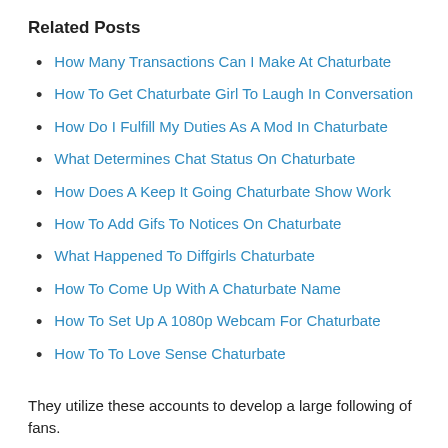Related Posts
How Many Transactions Can I Make At Chaturbate
How To Get Chaturbate Girl To Laugh In Conversation
How Do I Fulfill My Duties As A Mod In Chaturbate
What Determines Chat Status On Chaturbate
How Does A Keep It Going Chaturbate Show Work
How To Add Gifs To Notices On Chaturbate
What Happened To Diffgirls Chaturbate
How To Come Up With A Chaturbate Name
How To Set Up A 1080p Webcam For Chaturbate
How To To Love Sense Chaturbate
They utilize these accounts to develop a large following of fans.
The designs, referred to as broadcasters, may initially be inspired